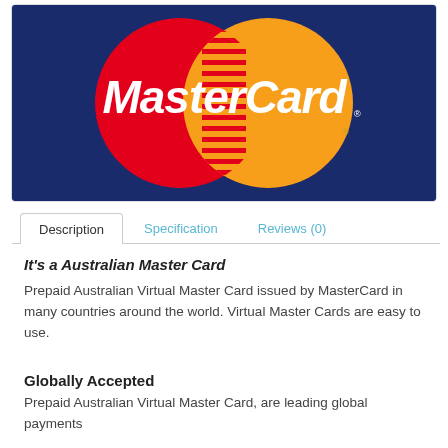[Figure (logo): MasterCard logo on dark navy blue background with overlapping red and yellow/orange circles and 'MasterCard' text in white italic font]
Description	Specification	Reviews (0)
It's a Australian Master Card
Prepaid Australian Virtual Master Card issued by MasterCard in many countries around the world. Virtual Master Cards are easy to use.
Globally Accepted
Prepaid Australian Virtual Master Card, are leading global payments